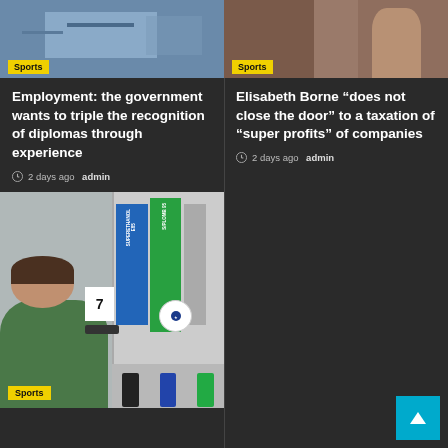[Figure (photo): Top left news article image with Sports badge, blue-toned background]
Employment: the government wants to triple the recognition of diplomas through experience
2 days ago   admin
[Figure (photo): Top right news article image with Sports badge, warm-toned background]
Elisabeth Borne “does not close the door” to a taxation of “super profits” of companies
2 days ago   admin
[Figure (photo): Gas station pump photo with person in green dress, showing pump number 7, SUPERETHANOL E85 and S/PLOMB 95 labels, Sports badge overlay]